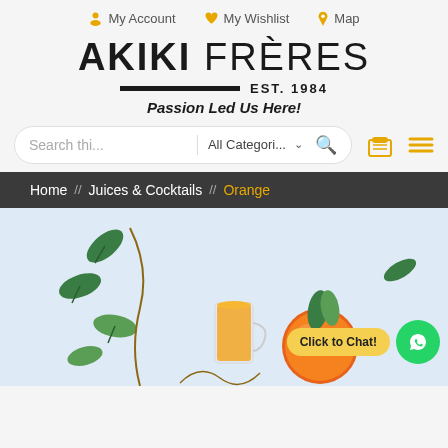My Account   My Wishlist   Map
AKIKI FRÈRES EST. 1984 — Passion Led Us Here!
Search thi...  All Categori...
Home // Juices & Cocktails // Orange
[Figure (photo): Orange juice in a glass mug with fresh oranges and green leaves on light blue background, with a 'Click to Chat!' WhatsApp button overlay]